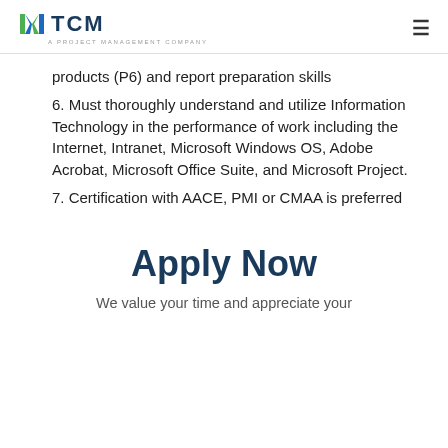TCM — A Project Management Company
products (P6) and report preparation skills
6. Must thoroughly understand and utilize Information Technology in the performance of work including the Internet, Intranet, Microsoft Windows OS, Adobe Acrobat, Microsoft Office Suite, and Microsoft Project.
7. Certification with AACE, PMI or CMAA is preferred
Apply Now
We value your time and appreciate your